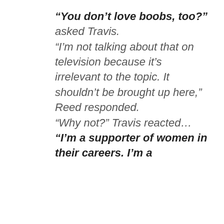“You don’t love boobs, too?” asked Travis. “I’m not talking about that on television because it’s irrelevant to the topic. It shouldn’t be brought up here,” Reed responded. “Why not?” Travis reacted… “I’m a supporter of women in their careers. I’m a